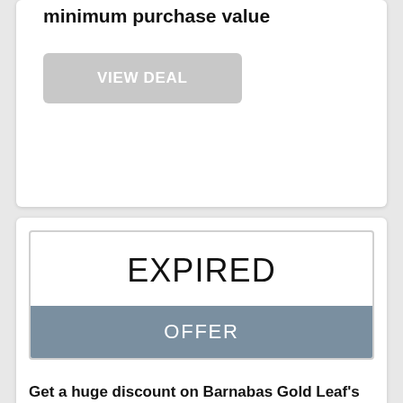Discount with 5% offer for all orders above minimum purchase value
VIEW DEAL
EXPIRED
OFFER
Get a huge discount on Barnabas Gold Leaf's variety of products by following the Barnabas Gold Leaf link mentioned here. No